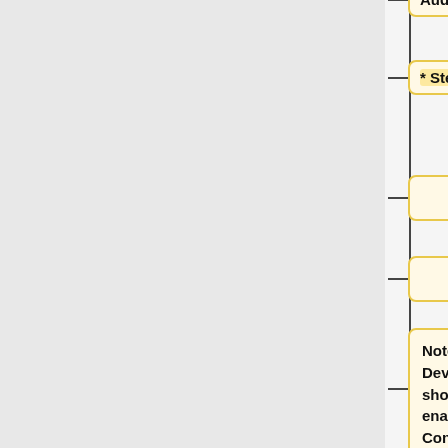Audio
* Stereo Mix: USB Audio
Note that the "Recording Device" dropdown can only show devices that are enabled in the Windows Control Panel. If the input you require is not listed in the dropdown, or is not apparently recording properly, try going to the Windows Control Panel to enable and select it (see